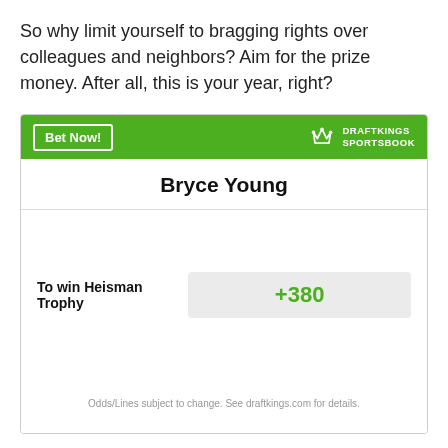So why limit yourself to bragging rights over colleagues and neighbors? Aim for the prize money. After all, this is your year, right?
[Figure (screenshot): DraftKings Sportsbook widget showing Bryce Young odds to win Heisman Trophy at +380]
Odds/Lines subject to change. See draftkings.com for details.